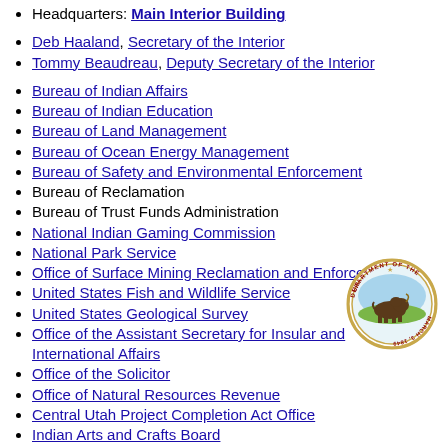Headquarters: Main Interior Building
Deb Haaland, Secretary of the Interior
Tommy Beaudreau, Deputy Secretary of the Interior
Bureau of Indian Affairs
Bureau of Indian Education
Bureau of Land Management
Bureau of Ocean Energy Management
Bureau of Safety and Environmental Enforcement
Bureau of Reclamation
Bureau of Trust Funds Administration
National Indian Gaming Commission
National Park Service
Office of Surface Mining Reclamation and Enforcement
United States Fish and Wildlife Service
United States Geological Survey
Office of the Assistant Secretary for Insular and International Affairs
Office of the Solicitor
Office of Natural Resources Revenue
Central Utah Project Completion Act Office
Indian Arts and Crafts Board
National Invasive Species Council
[Figure (logo): Seal of the U.S. Department of the Interior, circular seal with bison, March 3, 1849]